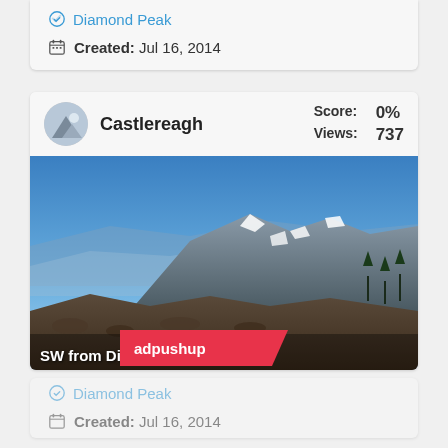[Figure (photo): Partial top of first card showing mountain photo (SE from Diamond)]
Diamond Peak
Created: Jul 16, 2014
Castlereagh  Score: 0%  Views: 737
[Figure (photo): Mountain landscape photo showing snow-covered ridge with rocky terrain, blue sky, labeled SW from Diamond]
adpushup
Diamond Peak
Created: Jul 16, 2014